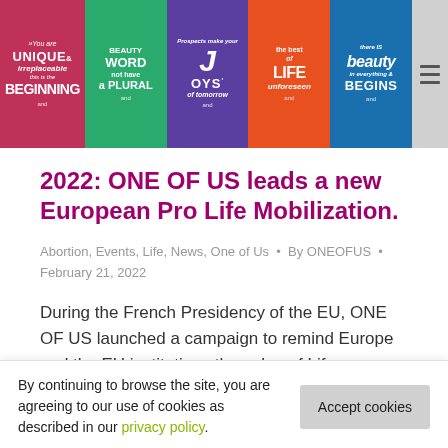[Figure (illustration): Website banner showing five colorful cards with motivational text: 'You are UNIQUE & irreplaceable this is the BEGINNING', 'BEAUTY is a WORD not have a PLURAL', 'Prospects make your JOYS of tomorrow', 'the best of LIFE unforeseen', 'there IS beauty in everything & BEGINS'. A hamburger menu icon is visible at the top right.]
2022: ONE OF US leads a new European Pro Life Mobilization.
Abortion, Events, Life, News, One of Us • By ONEOFUS • February 21, 2022
During the French Presidency of the EU, ONE OF US launched a campaign to remind Europe and the EU institutions the value of Life, confirming that abortion destroys a new human life., The most
By continuing to browse the site, you are agreeing to our use of cookies as described in our privacy policy.